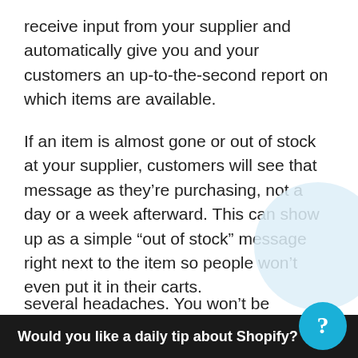receive input from your supplier and automatically give you and your customers an up-to-the-second report on which items are available.
If an item is almost gone or out of stock at your supplier, customers will see that message as they're purchasing, not a day or a week afterward. This can show up as a simple “out of stock” message right next to the item so people won’t even put it in their carts.
This instant communication saves you several headaches. You won’t be dealing
Would you like a daily tip about Shopify?